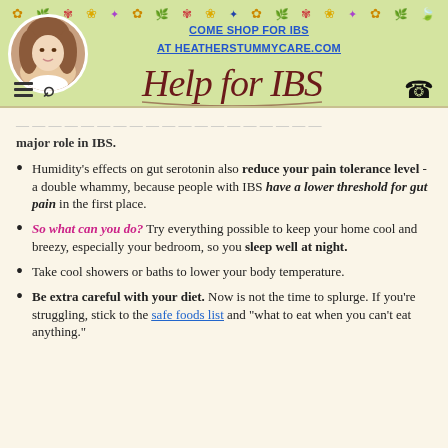COME SHOP FOR IBS AT HEATHERSTUMMYCARE.COM
[Figure (logo): Help for IBS cursive logo in dark red]
Over 90% of that serotonin is in your gut, and it plays a major role in IBS.
Humidity's effects on gut serotonin also reduce your pain tolerance level - a double whammy, because people with IBS have a lower threshold for gut pain in the first place.
So what can you do? Try everything possible to keep your home cool and breezy, especially your bedroom, so you sleep well at night.
Take cool showers or baths to lower your body temperature.
Be extra careful with your diet. Now is not the time to splurge. If you're struggling, stick to the safe foods list and "what to eat when you can't eat anything."